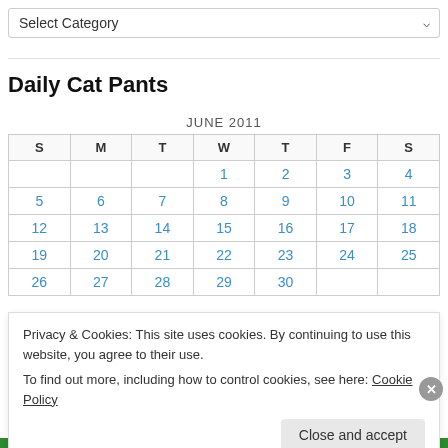[Figure (screenshot): Dropdown select box with label 'Select Category' and a dropdown arrow on the right]
Daily Cat Pants
| S | M | T | W | T | F | S |
| --- | --- | --- | --- | --- | --- | --- |
|  |  |  | 1 | 2 | 3 | 4 |
| 5 | 6 | 7 | 8 | 9 | 10 | 11 |
| 12 | 13 | 14 | 15 | 16 | 17 | 18 |
| 19 | 20 | 21 | 22 | 23 | 24 | 25 |
| 26 | 27 | 28 | 29 | 30 |  |  |
Privacy & Cookies: This site uses cookies. By continuing to use this website, you agree to their use.
To find out more, including how to control cookies, see here: Cookie Policy
Close and accept